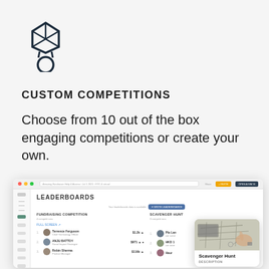[Figure (illustration): Medal/trophy icon outline — diamond shape on top with a circular medal below, dark outline style]
CUSTOM COMPETITIONS
Choose from 10 out of the box engaging competitions or create your own.
[Figure (screenshot): Browser window screenshot showing a Leaderboards page with sidebar navigation, two competition columns (FUNDRAISING COMPETITION and SCAVENGER HUNT), participant entries with avatars and scores, and a popup card showing Scavenger Hunt with a photo of a map and hands, with DESCRIPTION label below]